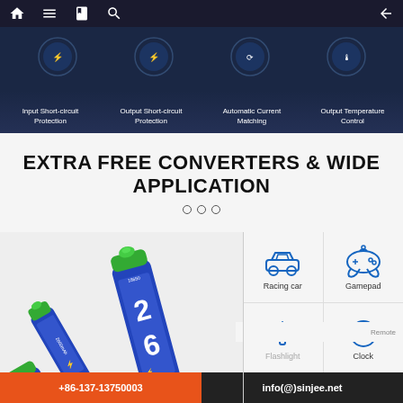Navigation bar with home, menu, book, search, and back icons
[Figure (infographic): Dark blue banner showing four protection feature icons with labels: Input Short-circuit Protection, Output Short-circuit Protection, Automatic Current Matching, Output Temperature Control]
EXTRA FREE CONVERTERS & WIDE APPLICATION
[Figure (photo): Two 18650 2600mAh rechargeable lithium batteries (blue with red stripe, green caps) shown at an angle]
[Figure (infographic): Application icons grid: Gamepad, Racing car, Clock, Flashlight, Remote]
+86-137-13750003   info(@)sinjee.net